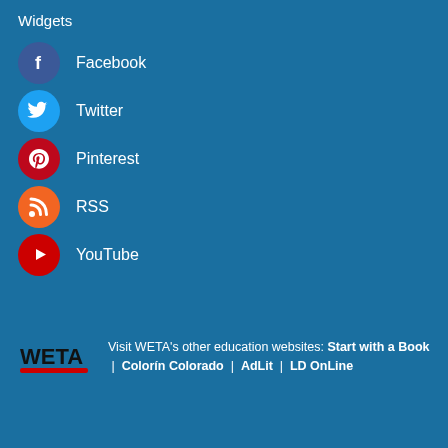Widgets
Facebook
Twitter
Pinterest
RSS
YouTube
Visit WETA's other education websites: Start with a Book | Colorín Colorado | AdLit | LD OnLine